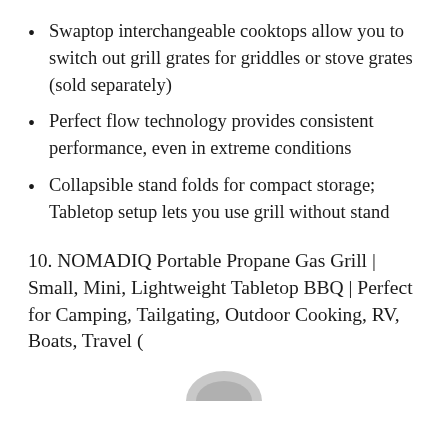Swaptop interchangeable cooktops allow you to switch out grill grates for griddles or stove grates (sold separately)
Perfect flow technology provides consistent performance, even in extreme conditions
Collapsible stand folds for compact storage; Tabletop setup lets you use grill without stand
10. NOMADIQ Portable Propane Gas Grill | Small, Mini, Lightweight Tabletop BBQ | Perfect for Camping, Tailgating, Outdoor Cooking, RV, Boats, Travel (
[Figure (photo): Partial view of a product image (the bottom of a portable grill), cropped at the page edge.]